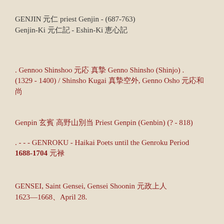GENJIN 元仁 priest Genjin - (687-763) Genjin-Ki 元仁記 - Eshin-Ki 恵心記
. Gennoo Shinshoo 元応 真摯 Genno Shinsho (Shinjo) . (1329 - 1400) / Shinsho Kugai 真摯空外, Genno Osho 元応和尚
Genpin 玄賓 高野山別当 Priest Genpin (Genbin) (? - 818)
. - - - GENROKU - Haikai Poets until the Genroku Period 1688-1704 元禄
GENSEI, Saint Gensei, Gensei Shoonin 元政上人 1623—1668、April 28.